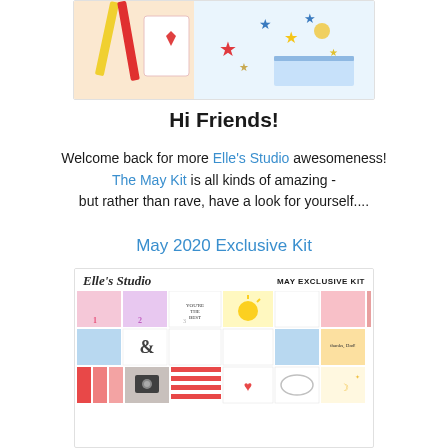[Figure (photo): Top photo showing craft supplies, stars, pencils, and decorative elements related to Elle's Studio scrapbooking kit]
Hi Friends!
Welcome back for more Elle's Studio awesomeness! The May Kit is all kinds of amazing - but rather than rave, have a look for yourself....
May 2020 Exclusive Kit
[Figure (photo): Elle's Studio May Exclusive Kit product flat-lay showing colorful scrapbooking cards, stickers, and decorative elements arranged in a grid layout]